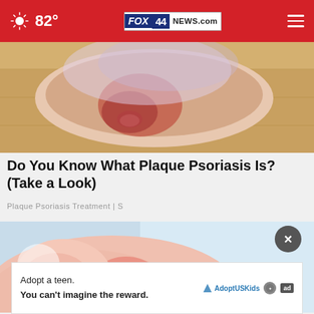82° FOX 44 NEWS.com
[Figure (photo): Close-up photo of a foot/ankle with reddened, inflamed skin showing psoriasis symptoms on a wooden floor background]
Do You Know What Plaque Psoriasis Is? (Take a Look)
Plaque Psoriasis Treatment | S
[Figure (photo): Medical illustration of inflamed reddish skin or joint showing psoriasis, with light blue background]
Adopt a teen.
You can't imagine the reward.